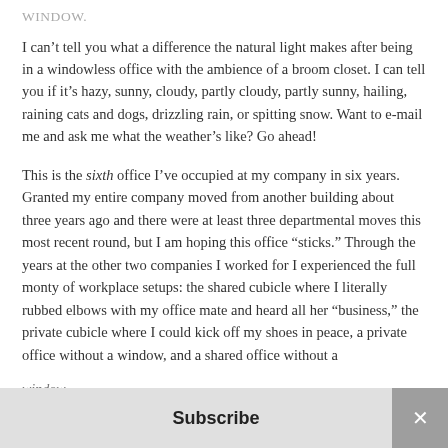WINDOW.
I can’t tell you what a difference the natural light makes after being in a windowless office with the ambience of a broom closet. I can tell you if it’s hazy, sunny, cloudy, partly cloudy, partly sunny, hailing, raining cats and dogs, drizzling rain, or spitting snow. Want to e-mail me and ask me what the weather’s like? Go ahead!
This is the sixth office I’ve occupied at my company in six years. Granted my entire company moved from another building about three years ago and there were at least three departmental moves this most recent round, but I am hoping this office “sticks.” Through the years at the other two companies I worked for I experienced the full monty of workplace setups: the shared cubicle where I literally rubbed elbows with my office mate and heard all her “business,” the private cubicle where I could kick off my shoes in peace, a private office without a window, and a shared office without a window.
Subscribe
×